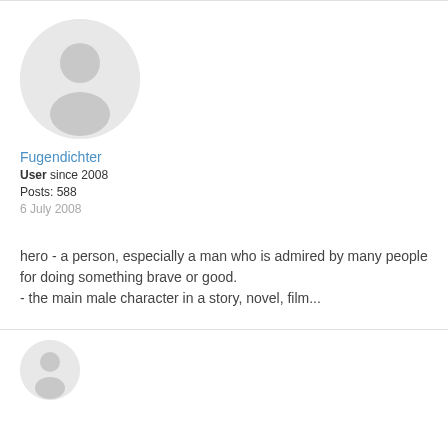[Figure (illustration): Default user avatar: circular placeholder with a gray silhouette of a person on light gray background]
Fugendichter
User since 2008
Posts: 588
6 July 2008
hero - a person, especially a man who is admired by many people for doing something brave or good.
- the main male character in a story, novel, film...
[Figure (illustration): Partial bottom avatar circle visible at bottom of page]